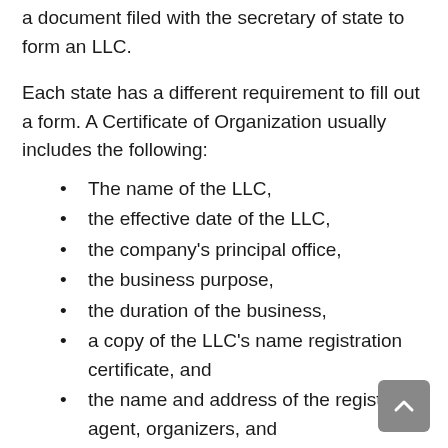a document filed with the secretary of state to form an LLC.
Each state has a different requirement to fill out a form. A Certificate of Organization usually includes the following:
The name of the LLC,
the effective date of the LLC,
the company's principal office,
the business purpose,
the duration of the business,
a copy of the LLC's name registration certificate, and
the name and address of the registered agent, organizers, and